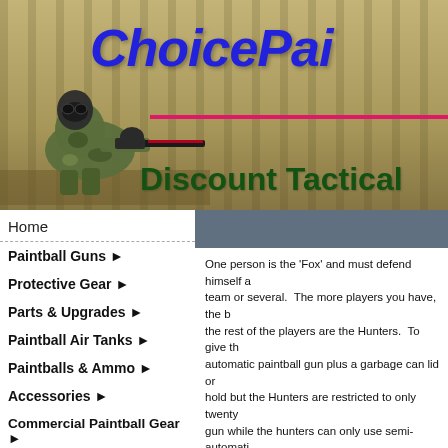[Figure (screenshot): Website banner for ChoicePaintball showing a paintball player in camouflage aiming a paintball gun against a wooded background, with text 'ChoicePai...' in blue italic and 'Discount Tactical' in dark green below]
Home
Paintball Guns ►
Protective Gear ►
Parts & Upgrades ►
Paintball Air Tanks ►
Paintballs & Ammo ►
Accessories ►
Commercial Paintball Gear ►
Shop By Brand ►
Sniper Paintball Gear ►
One person is the 'Fox' and must defend himself against a team or several.  The more players you have, the better, the rest of the players are the Hunters.  To give the... automatic paintball gun plus a garbage can lid or ... hold but the Hunters are restricted to only twenty... gun while the hunters can only use semi-automati... time limit of about 20-30 minutes; the time limit o... etc.  Here are the rules:
1. If the Fox has a semi-auto/shield option, hits ...